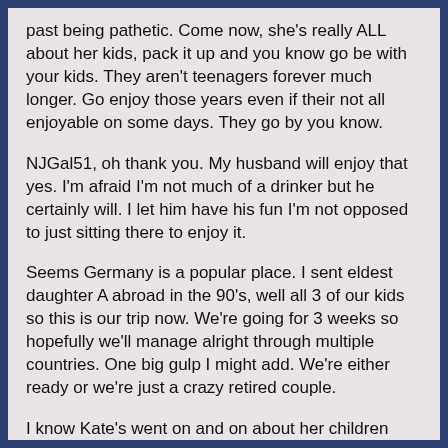past being pathetic. Come now, she's really ALL about her kids, pack it up and you know go be with your kids. They aren't teenagers forever much longer. Go enjoy those years even if their not all enjoyable on some days. They go by you know.
NJGal51, oh thank you. My husband will enjoy that yes. I'm afraid I'm not much of a drinker but he certainly will. I let him have his fun I'm not opposed to just sitting there to enjoy it.
Seems Germany is a popular place. I sent eldest daughter A abroad in the 90's, well all 3 of our kids so this is our trip now. We're going for 3 weeks so hopefully we'll manage alright through multiple countries. One big gulp I might add. We're either ready or we're just a crazy retired couple.
I know Kate's went on and on about her children being traveled what on odd way to phrase it. I wonder when she becomes old if she's going to be able to travel herself.